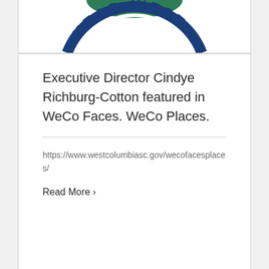[Figure (logo): Partial circular logo with text 'HEAD WEST' in blue arc lettering, green and teal design elements at top]
Executive Director Cindye Richburg-Cotton featured in WeCo Faces. WeCo Places.
https://www.westcolumbiasc.gov/wecofacesplaces/
Read More ›